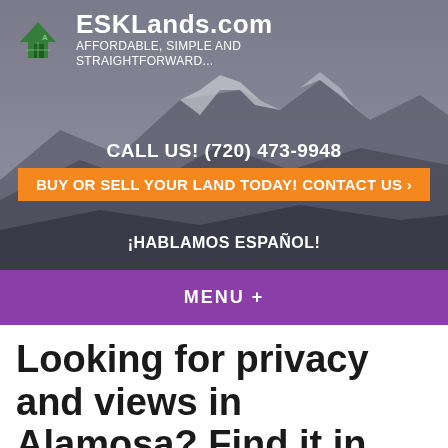[Figure (screenshot): ESKLands.com website header with mountain background, logo, phone number, contact button, and menu bar]
ESKLands.com AFFORDABLE, SIMPLE AND STRAIGHTFORWARD...
CALL US! (720) 473-9948
BUY OR SELL YOUR LAND TODAY! CONTACT US ›
¡HABLAMOS ESPAÑOL!
MENU  +
Looking for privacy and views in Alamosa? Find it in this 10ac lot.